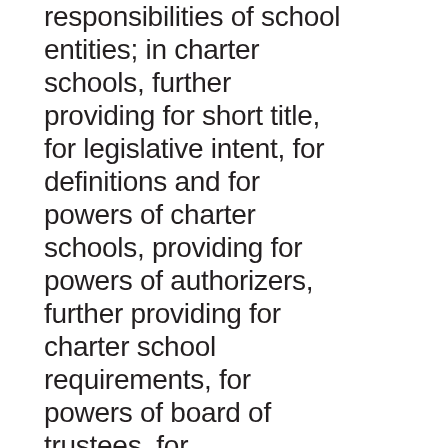responsibilities of school entities; in charter schools, further providing for short title, for legislative intent, for definitions and for powers of charter schools, providing for powers of authorizers, further providing for charter school requirements, for powers of board of trustees, for establishment of charter school, for